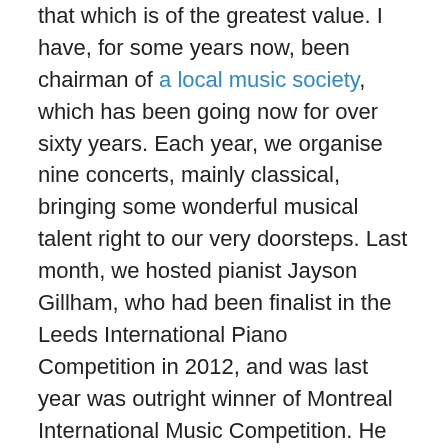that which is of the greatest value. I have, for some years now, been chairman of a local music society, which has been going now for over sixty years. Each year, we organise nine concerts, mainly classical, bringing some wonderful musical talent right to our very doorsteps. Last month, we hosted pianist Jayson Gillham, who had been finalist in the Leeds International Piano Competition in 2012, and was last year was outright winner of Montreal International Music Competition. He has already performed with some of the most prestigious orchestras in the world, and in some of the most prestigious halls, and, given this background, one might have thought the good people of our locality would be fighting for tickets. We certainly did our best to publicise the concert – with mentions on various social media platforms, announcements on local radio, fliers, banners, and the like. And yet, we couldn't even fill our modest church hall;